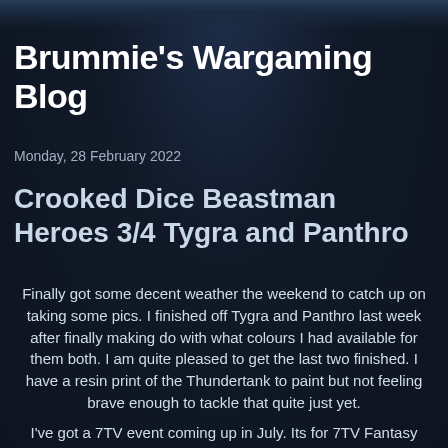Brummie's Wargaming Blog
Monday, 28 February 2022
Crooked Dice Beastman Heroes 3/4 Tygra and Panthro
Finally got some decent weather the weekend to catch up on taking some pics. I finished off Tygra and Panthro last week after finally making do with what colours I had available for them both. I am quite pleased to get the last two finished. I have a resin print of the Thundertank to paint but not feeling brave enough to tackle that quite just yet.
I've got a 7TV event coming up in July. Its for 7TV Fantasy